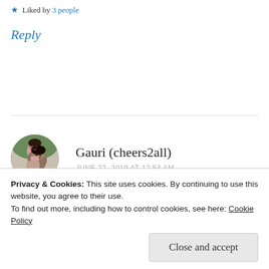★ Liked by 3 people
Reply
[Figure (photo): Round avatar photo of a couple, man and woman posing together, circular crop]
Gauri (cheers2all)
JUNE 22, 2019 AT 12:54 AM
How are you doing Mira?
Glad to have you back 🤗
I am out at the moment. Will read & comment
Privacy & Cookies: This site uses cookies. By continuing to use this website, you agree to their use.
To find out more, including how to control cookies, see here: Cookie Policy
Close and accept